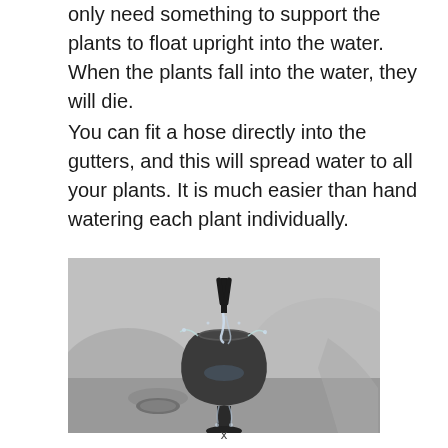only need something to support the plants to float upright into the water.  When the plants fall into the water, they will die.
You can fit a hose directly into the gutters, and this will spread water to all your plants. It is much easier than hand watering each plant individually.
[Figure (photo): Black and white close-up photo of a water drip cup or funnel device with water pouring into it and splashing, set against a blurred outdoor background with gravel or stones.]
x